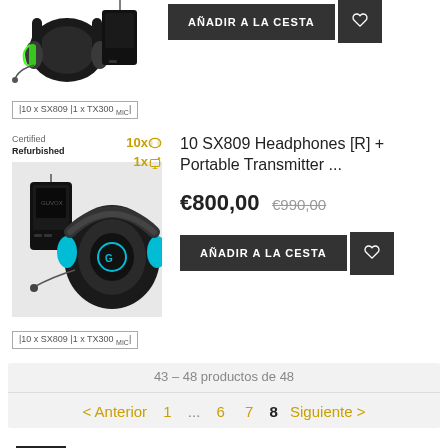[Figure (photo): Green gaming headphones with microphone and wireless transmitter, product image (cropped at top)]
AÑADIR A LA CESTA (button)
|10 x SX809 |1 x TX300 MIC|
[Figure (photo): Black and blue gaming headphones with wireless transmitter, Certified Refurbished product]
Certified Refurbished | 10xΩ 1x🔌
10 SX809 Headphones [R] + Portable Transmitter ...
€800,00 €990,00
AÑADIR A LA CESTA (button)
|10 x SX809 |1 x TX300 MIC|
43 – 48 productos de 48
< Anterior  1  ...  6  7  8  Siguiente >
COLLECTIONS